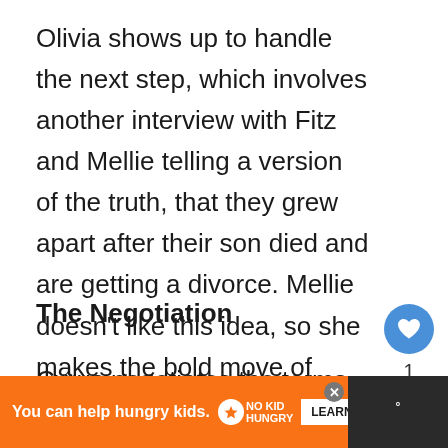Olivia shows up to handle the next step, which involves another interview with Fitz and Mellie telling a version of the truth, that they grew apart after their son died and are getting a divorce. Mellie doesn't like this idea, so she makes the bold move of hiring Cyrus as her chief advisor to get what she wants.
The Negotiation
Cyrus negotiates the terms under which Mellie will allow Fitz to be on...her